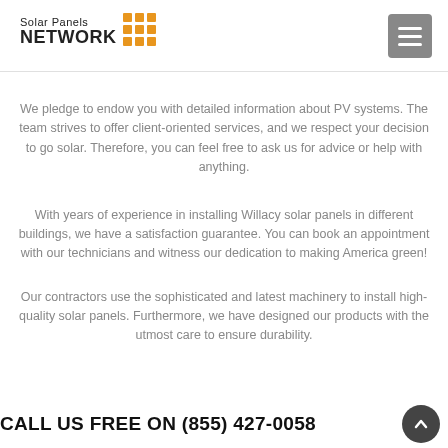Solar Panels NETWORK
We pledge to endow you with detailed information about PV systems. The team strives to offer client-oriented services, and we respect your decision to go solar. Therefore, you can feel free to ask us for advice or help with anything.
With years of experience in installing Willacy solar panels in different buildings, we have a satisfaction guarantee. You can book an appointment with our technicians and witness our dedication to making America green!
Our contractors use the sophisticated and latest machinery to install high-quality solar panels. Furthermore, we have designed our products with the utmost care to ensure durability.
CALL US FREE ON (855) 427-0058